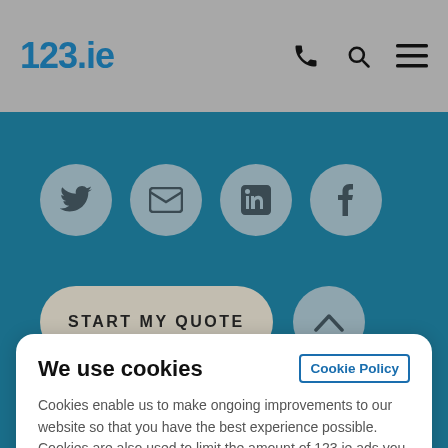123.ie
[Figure (screenshot): Social media sharing buttons: Twitter, Email, LinkedIn, Facebook — circular grey icons on teal background]
[Figure (screenshot): START MY QUOTE button (pill-shaped, grey) and an up-arrow circular grey button on teal background]
We use cookies
Cookie Policy
Cookies enable us to make ongoing improvements to our website so that you have the best experience possible. Cookies are also used to limit the amount of 123.ie ads you see while ensuring they remain relevant to you. You have the option to